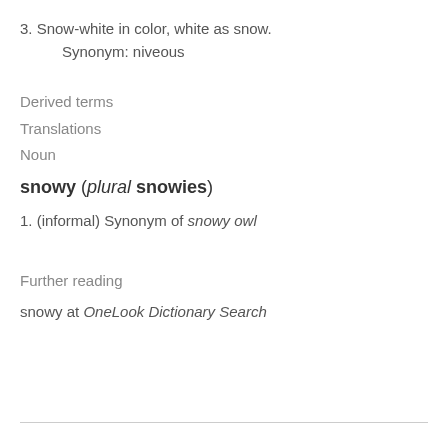3. Snow-white in color, white as snow.
    Synonym: niveous
Derived terms
Translations
Noun
snowy (plural snowies)
1. (informal) Synonym of snowy owl
Further reading
snowy at OneLook Dictionary Search